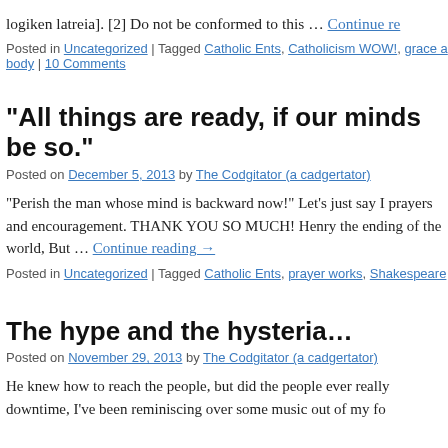logiken latreia]. [2] Do not be conformed to this … Continue reading →
Posted in Uncategorized | Tagged Catholic Ents, Catholicism WOW!, grace a... body | 10 Comments
“All things are ready, if our minds be so.”
Posted on December 5, 2013 by The Codgitator (a cadgertator)
“Perish the man whose mind is backward now!” Let’s just say I prayers and encouragement. THANK YOU SO MUCH! Henry the ending of the world, But … Continue reading →
Posted in Uncategorized | Tagged Catholic Ents, prayer works, Shakespeare
The hype and the hysteria…
Posted on November 29, 2013 by The Codgitator (a cadgertator)
He knew how to reach the people, but did the people ever really downtime, I’ve been reminiscing over some music out of my fo